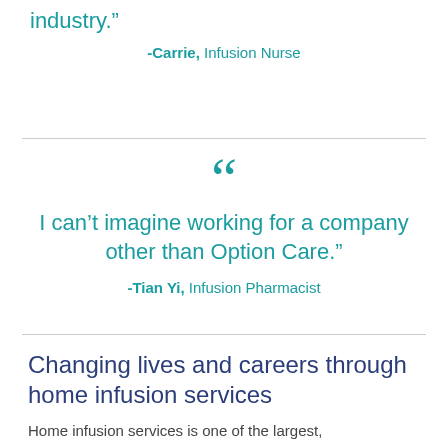industry.”
-Carrie, Infusion Nurse
“I can’t imagine working for a company other than Option Care.”
-Tian Yi, Infusion Pharmacist
Changing lives and careers through home infusion services
Home infusion services is one of the largest,